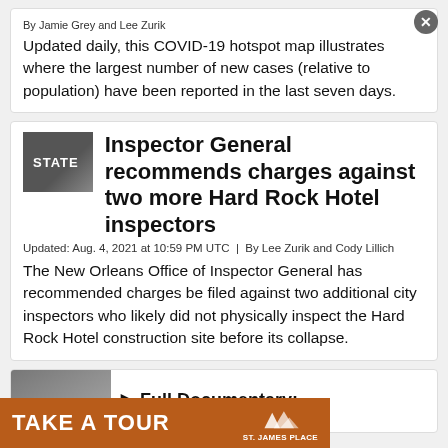By Jamie Grey and Lee Zurik
Updated daily, this COVID-19 hotspot map illustrates where the largest number of new cases (relative to population) have been reported in the last seven days.
STATE
Inspector General recommends charges against two more Hard Rock Hotel inspectors
Updated: Aug. 4, 2021 at 10:59 PM UTC  |  By Lee Zurik and Cody Lillich
The New Orleans Office of Inspector General has recommended charges be filed against two additional city inspectors who likely did not physically inspect the Hard Rock Hotel construction site before its collapse.
⏵ Full Documentary:
[Figure (other): Advertisement banner: TAKE A TOUR - St. James Place]
GREAT...